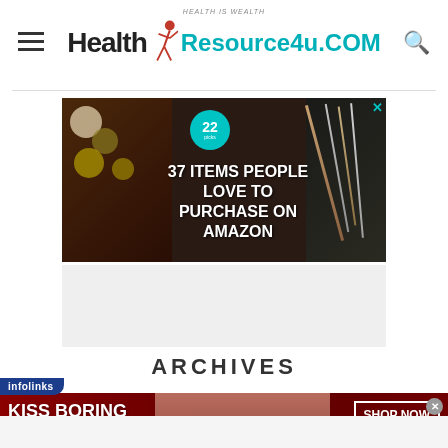[Figure (logo): Health Resource4u.COM logo with HEALTH IS WEALTH subtitle, menu icon left, search icon right]
[Figure (infographic): 37 ITEMS PEOPLE LOVE TO PURCHASE ON AMAZON advertisement banner with food/knives imagery and badge showing 22]
[Figure (infographic): Grey advertisement placeholder area below main banner]
ARCHIVES
[Figure (infographic): infolinks banner ad: KISS BORING LIPS GOODBYE - Macy's SHOP NOW advertisement with woman face photo]